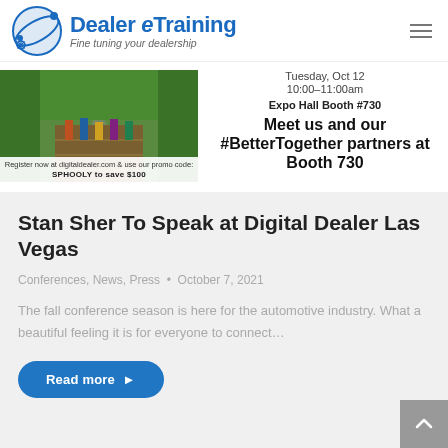Dealer eTraining – Fine tuning your dealership
[Figure (screenshot): Promotional banner for Digital Dealer Las Vegas showing event venue photo, registration promo code SPHOOLY to save $100, event date Tuesday Oct 12 10:00-11:00am Expo Hall Booth #730, and text: Meet us and our #BetterTogether partners at Booth 730]
Stan Sher To Speak at Digital Dealer Las Vegas
Conferences, News, Press · October 7, 2021
The fall conference season is here for the automotive industry. What a beautiful feeling it is for everyone to connect…
Read more ▶